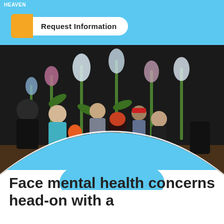HEAVEN
Request Information
[Figure (photo): Group of people standing in a room with a dark wall painted with colorful flower murals. One person holds an orange balloon. The photo is framed in an arch shape on a blue background.]
Face mental health concerns head-on with a